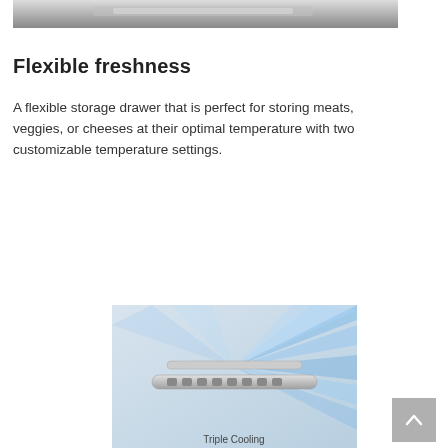[Figure (photo): Top portion of a refrigerator or appliance, showing a metallic/silver surface, partially cropped]
Flexible freshness
A flexible storage drawer that is perfect for storing meats, veggies, or cheeses at their optimal temperature with two customizable temperature settings.
[Figure (photo): Close-up of a cooling vent or air diffuser with blue light rays emanating from it, with text 'Triple Cooling' partially visible at the bottom]
Triple Cooling